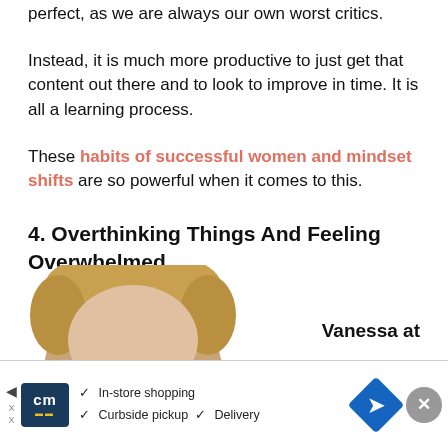perfect, as we are always our own worst critics.
Instead, it is much more productive to just get that content out there and to look to improve in time. It is all a learning process.
These habits of successful women and mindset shifts are so powerful when it comes to this.
4. Overthinking Things And Feeling Overwhelmed
[Figure (photo): Partial photo of a woman's head/face, cropped at bottom of page]
Vanessa at
[Figure (other): Advertisement banner: CM logo, In-store shopping, Curbside pickup, Delivery options with navigation arrow icon and close button]